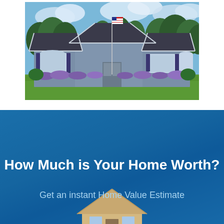[Figure (photo): Exterior photo of a single-story ranch-style house with gray siding, dark roof, large windows with dark shutters, purple flowering plants along the front, an American flag on a tall flagpole, and lush green lawn and trees in background under blue sky.]
How Much is Your Home Worth?
Get an instant Home Value Estimate